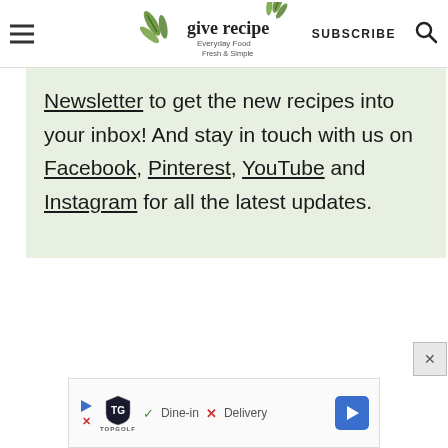give recipe — Everyday Food Fresh & Simple | SUBSCRIBE
Newsletter to get the new recipes into your inbox! And stay in touch with us on Facebook, Pinterest, YouTube and Instagram for all the latest updates.
[Figure (screenshot): Advertisement banner showing TopGolf logo with Dine-in checkmark and Delivery X with blue arrow navigation button]